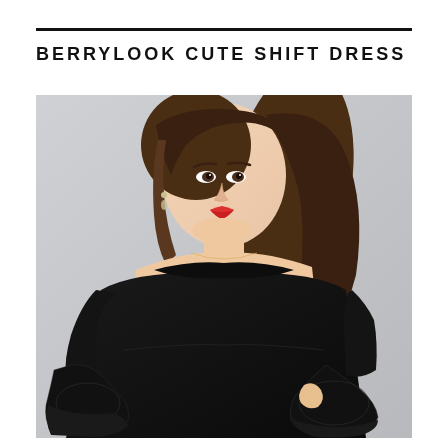BERRYLOOK CUTE SHIFT DRESS
[Figure (photo): A woman wearing a black shift dress with flared bell sleeves featuring layered black lace trim details. The model has long brown hair, red lips, and is posed against a light gray background.]